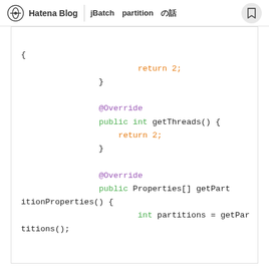Hatena Blog | jBatch partition の話
[Figure (screenshot): Java code snippet showing getThreads() and getPartitionProperties() methods with syntax highlighting. Code includes @Override annotations, public int getThreads() returning 2, and public Properties[] getPartitionProperties() method with int partitions = getPartitions();]